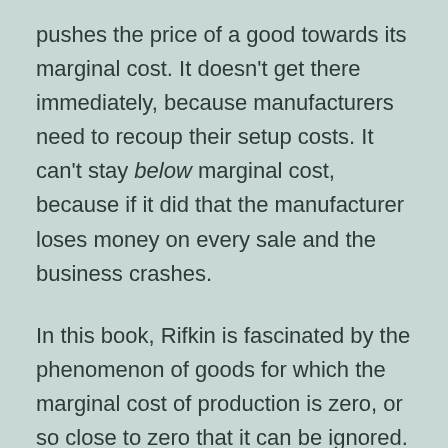pushes the price of a good towards its marginal cost. It doesn't get there immediately, because manufacturers need to recoup their setup costs. It can't stay below marginal cost, because if it did that the manufacturer loses money on every sale and the business crashes.
In this book, Rifkin is fascinated by the phenomenon of goods for which the marginal cost of production is zero, or so close to zero that it can be ignored. All of the present-day examples of these he points at are information goods – software, music, visual art, novels. He